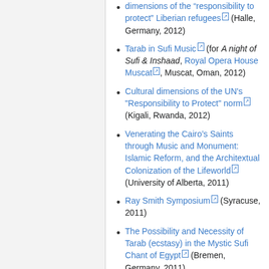dimensions of the “responsibility to protect” Liberian refugees (Halle, Germany, 2012)
Tarab in Sufi Music (for A night of Sufi & Inshaad, Royal Opera House Muscat, Muscat, Oman, 2012)
Cultural dimensions of the UN's "Responsibility to Protect" norm (Kigali, Rwanda, 2012)
Venerating the Cairo’s Saints through Music and Monument: Islamic Reform, and the Architextual Colonization of the Lifeworld (University of Alberta, 2011)
Ray Smith Symposium (Syracuse, 2011)
The Possibility and Necessity of Tarab (ecstasy) in the Mystic Sufi Chant of Egypt (Bremen, Germany, 2011)